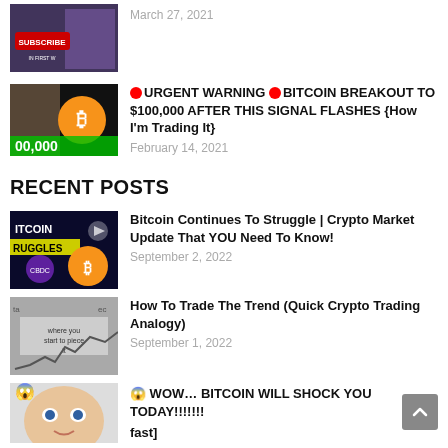[Figure (screenshot): Thumbnail of a YouTube video with a man and Bitcoin logo, partially visible at top]
March 27, 2021
[Figure (screenshot): Thumbnail showing shocked man with Bitcoin $100,000 graphic]
🔴URGENT WARNING 🔴BITCOIN BREAKOUT TO $100,000 AFTER THIS SIGNAL FLASHES {How I'm Trading It}
February 14, 2021
RECENT POSTS
[Figure (screenshot): Thumbnail showing Bitcoin struggles text with crypto imagery]
Bitcoin Continues To Struggle | Crypto Market Update That YOU Need To Know!
September 2, 2022
[Figure (screenshot): Thumbnail showing a man with text about trading the trend]
How To Trade The Trend (Quick Crypto Trading Analogy)
September 1, 2022
[Figure (screenshot): Thumbnail showing surprised face for Bitcoin shock video]
😱 WOW… BITCOIN WILL SHOCK YOU TODAY!!!!!!! fast]